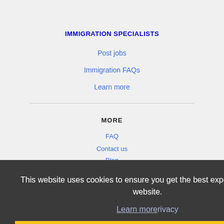IMMIGRATION SPECIALISTS
Post jobs
Immigration FAQs
Learn more
MORE
FAQ
Contact us
This website uses cookies to ensure you get the best experience on our website.
Learn more
Got it!
NEARBY CITIES
Alameda, CA Jobs
Antioch, CA Jobs